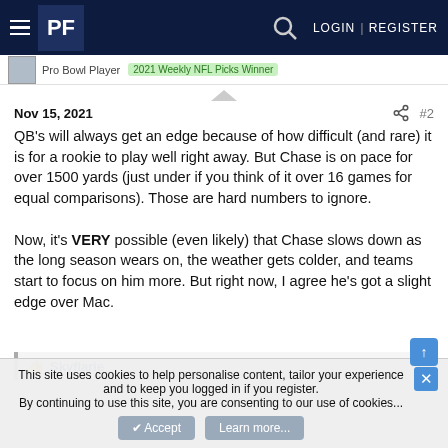PF | LOGIN | REGISTER
Pro Bowl Player  2021 Weekly NFL Picks Winner
Nov 15, 2021  #2
QB's will always get an edge because of how difficult (and rare) it is for a rookie to play well right away. But Chase is on pace for over 1500 yards (just under if you think of it over 16 games for equal comparisons). Those are hard numbers to ignore.

Now, it's VERY possible (even likely) that Chase slows down as the long season wears on, the weather gets colder, and teams start to focus on him more. But right now, I agree he's got a slight edge over Mac.
👍 Skyflarie
This site uses cookies to help personalise content, tailor your experience and to keep you logged in if you register.
By continuing to use this site, you are consenting to our use of cookies.